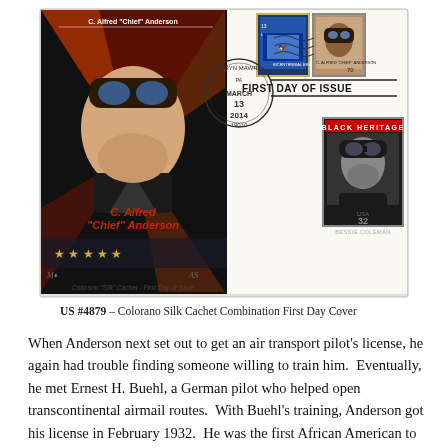[Figure (photo): A First Day Cover envelope featuring a Colorano Silk Cachet of C. Alfred 'Chief' Anderson. The left side of the envelope shows a stylized portrait of Anderson in pilot gear against a red and black graphic background with the name 'C. Alfred Chief Anderson.' The right side shows a BRYN MAWR postmark dated MARCH 13 2014 19010, a Pennsylvania bicentennial stamp (13 cents), a stamp showing Anderson (70 cents), text 'FIRST DAY OF ISSUE', and a Black Heritage stamp showing Bessie Coleman (USA 32 cents). At the bottom: 'Colorano Silk Cachet - First Day of Issue'.]
US #4879 – Colorano Silk Cachet Combination First Day Cover
When Anderson next set out to get an air transport pilot's license, he again had trouble finding someone willing to train him.  Eventually, he met Ernest H. Buehl, a German pilot who helped open transcontinental airmail routes.  With Buehl's training, Anderson got his license in February 1932.  He was the first African American to get an air transport pilot's license from the Civil Aeronautics Administration.